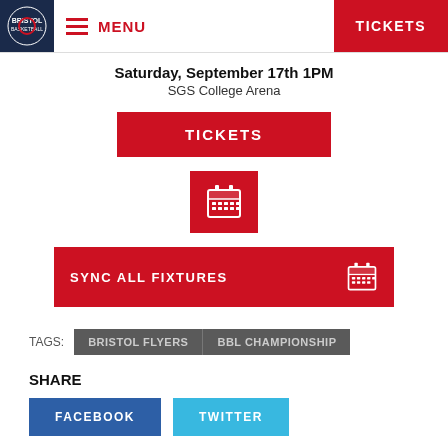MENU | TICKETS
Saturday, September 17th 1PM
SGS College Arena
[Figure (other): Red TICKETS button]
[Figure (other): Red calendar icon button]
[Figure (other): Red SYNC ALL FIXTURES button with calendar icon]
TAGS: BRISTOL FLYERS | BBL CHAMPIONSHIP
SHARE
FACEBOOK  TWITTER